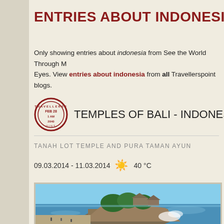ENTRIES ABOUT INDONESIA
Only showing entries about indonesia from See the World Through My Eyes. View entries about indonesia from all Travellerspoint blogs.
TEMPLES OF BALI - INDONESIA
TANAH LOT TEMPLE AND PURA TAMAN AYUN
09.03.2014 - 11.03.2014   40 °C
[Figure (photo): Tanah Lot temple on a rocky island surrounded by ocean waves, with trees on top and people visible on the beach]